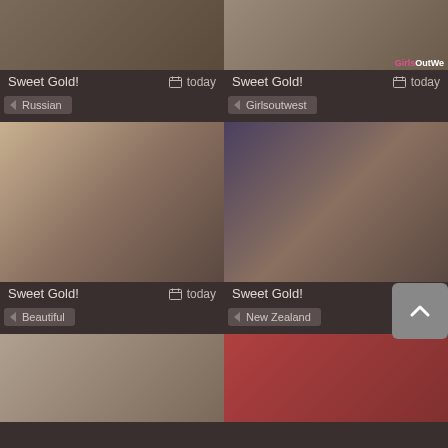[Figure (photo): Thumbnail image top left]
Sweet Gold!
today
Russian
[Figure (photo): Thumbnail image top right with GirlsOutWest watermark]
Sweet Gold!
today
Girlsoutwest
[Figure (photo): Blonde woman thumbnail]
Sweet Gold!
today
Beautiful
[Figure (photo): Dark scene thumbnail]
Sweet Gold!
today
New Zealand
[Figure (photo): Bottom left thumbnail]
[Figure (photo): Bottom right thumbnail]